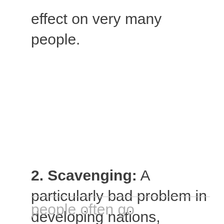effect on very many people.
2. Scavenging: A particularly bad problem in developing nations,
people often go scavenging for